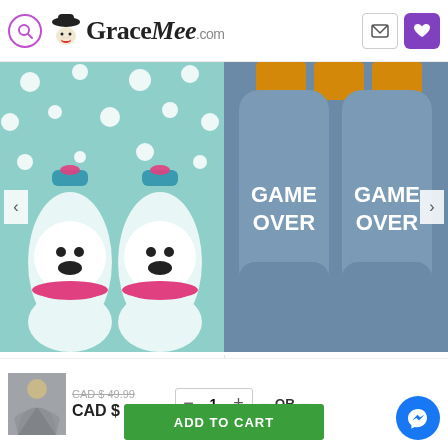GraceMee.com
[Figure (photo): Mint/teal polar bear winter fleece socks pair — left product image]
[Figure (photo): Blue 'Game Over' winter fleece socks pair — right product image]
SOCKS & WARMER
[ Adult ] Mint Bear Winter Indoor Fleece Lined 2 Layer Warm Hot Socks
SOCKS & WARMER
[ Adult ] Blue "Game Over" Winter Indoor Fleece Lined 2 Layer Warm Hot Socks
CAD $ 8.99
CAD $ 8.99
[Figure (photo): Small promotional product thumbnail of a person wearing a grey wrap/shawl]
CAD $ 49.99  CAD $ 34.99
- 1 +  — OR —
ADD TO CART